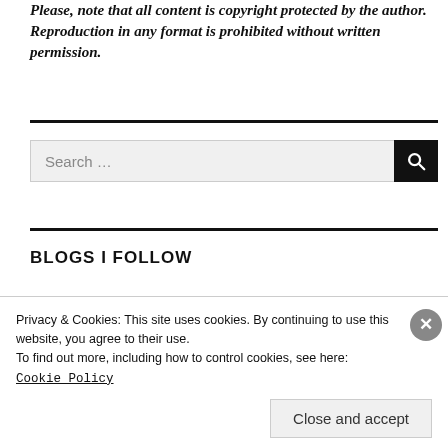Please, note that all content is copyright protected by the author. Reproduction in any format is prohibited without written permission.
[Figure (other): Search bar with text input showing 'Search ...' placeholder and a black search button with magnifying glass icon]
BLOGS I FOLLOW
Privacy & Cookies: This site uses cookies. By continuing to use this website, you agree to their use.
To find out more, including how to control cookies, see here:
Cookie Policy
Close and accept